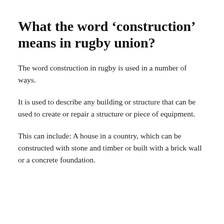What the word ‘construction’ means in rugby union?
The word construction in rugby is used in a number of ways.
It is used to describe any building or structure that can be used to create or repair a structure or piece of equipment.
This can include: A house in a country, which can be constructed with stone and timber or built with a brick wall or a concrete foundation.